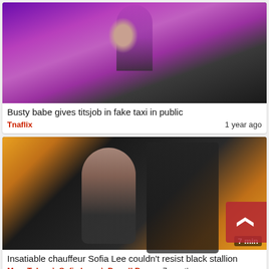[Figure (photo): Thumbnail of a woman in a pink/purple puffer jacket sitting in the back seat of a car with a seatbelt on]
Busty babe gives titsjob in fake taxi in public
Tnaflix    1 year ago
[Figure (photo): Thumbnail of two people in the back seat of a taxi cab (with yellow door interior), duration badge showing 7 min, with a scroll-up button overlay]
Insatiable chauffeur Sofia Lee couldn't resist black stallion
MegaTube  ★ Sofia Lee  ★ Darrell Deeps  7 months ago